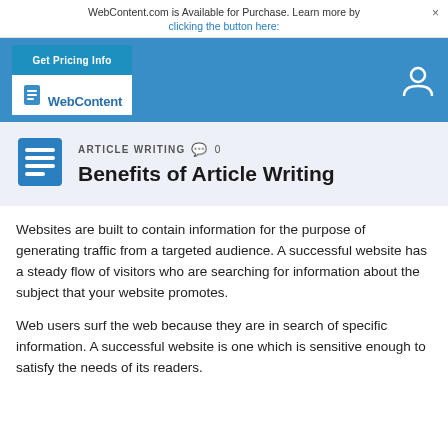WebContent.com is Available for Purchase. Learn more by clicking the button here:
[Figure (screenshot): Blue website header bar with WebContent logo and Get Pricing Info button]
ARTICLE WRITING  0
Benefits of Article Writing
Websites are built to contain information for the purpose of generating traffic from a targeted audience. A successful website has a steady flow of visitors who are searching for information about the subject that your website promotes.
Web users surf the web because they are in search of specific information. A successful website is one which is sensitive enough to satisfy the needs of its readers.